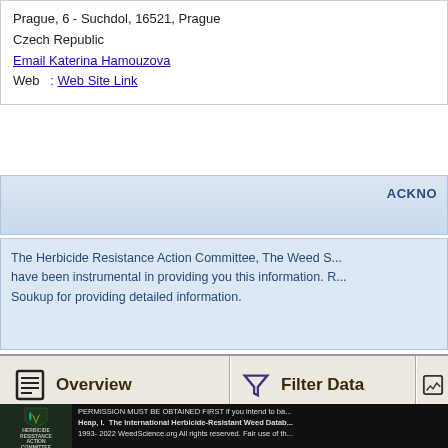Prague, 6 - Suchdol, 16521, Prague
Czech Republic
Email Katerina Hamouzova
Web   : Web Site Link
ACKNO
The Herbicide Resistance Action Committee, The Weed S... have been instrumental in providing you this information. R... Soukup for providing detailed information.
[Figure (infographic): Navigation grid with Overview, Filter Data, Herbicides, Weeds buttons with icons]
PERMISSION MUST BE OBTAINED FIRST if you intend to ba... Heap, I. The International Herbicide-Resistant Weed Datab... 1993-2022 WeedScience.org All rights reserved. Fair use of th...